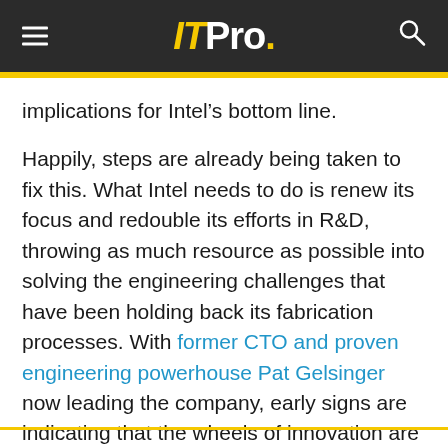ITPro.
implications for Intel’s bottom line.
Happily, steps are already being taken to fix this. What Intel needs to do is renew its focus and redouble its efforts in R&D, throwing as much resource as possible into solving the engineering challenges that have been holding back its fabrication processes. With former CTO and proven engineering powerhouse Pat Gelsinger now leading the company, early signs are indicating that the wheels of innovation are starting to get back up to full speed within Intel.